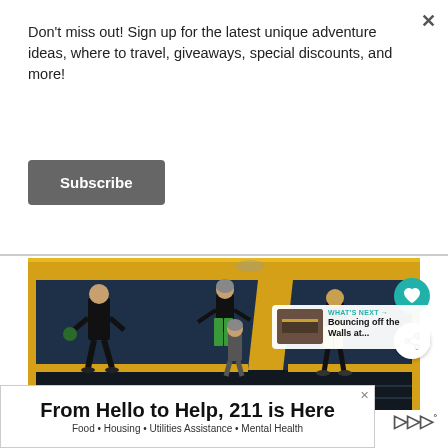Don't miss out! Sign up for the latest unique adventure ideas, where to travel, giveaways, special discounts, and more!
Subscribe
[Figure (photo): People playing in a trampoline park with yellow-bordered trampolines and blue padded walls. Several people including children and adults are jumping/playing. UI overlays include a heart/like button, share button, and a 'What's Next' preview showing 'Bouncing off the Walls at...']
From Hello to Help, 211 is Here
Food • Housing • Utilities Assistance • Mental Health